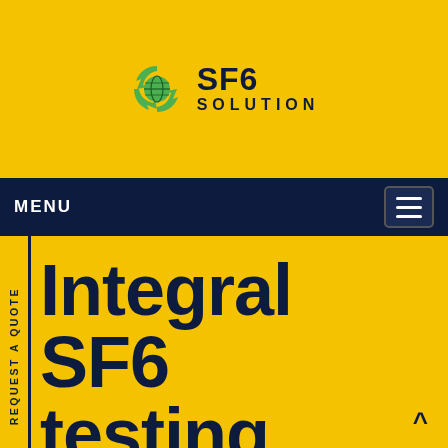[Figure (logo): SF6 Solution logo with circular green recycle arrows icon and globe, with bold SF6 text and SOLUTION text below]
MENU
Integral SF6 testing Surat
Home / Integral SF6 testing Surat